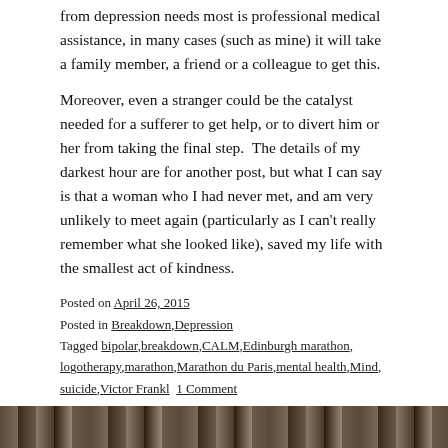from depression needs most is professional medical assistance, in many cases (such as mine) it will take a family member, a friend or a colleague to get this.
Moreover, even a stranger could be the catalyst needed for a sufferer to get help, or to divert him or her from taking the final step.  The details of my darkest hour are for another post, but what I can say is that a woman who I had never met, and am very unlikely to meet again (particularly as I can't really remember what she looked like), saved my life with the smallest act of kindness.
Posted on April 26, 2015
Posted in Breakdown, Depression
Tagged bipolar, breakdown, CALM, Edinburgh marathon, logotherapy, marathon, Marathon du Paris, mental health, Mind, suicide, Victor Frankl  1 Comment
MY ROUTE TO WORK
[Figure (photo): Partial photo strip at bottom of page, showing an outdoor scene, partially visible.]